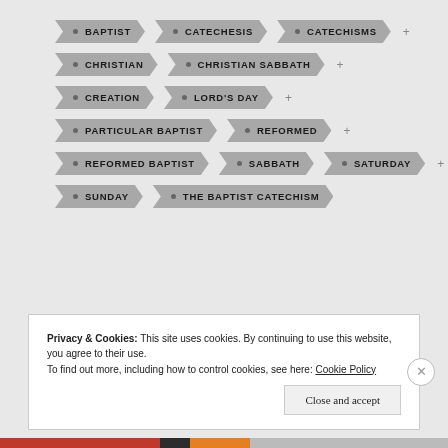BAPTIST
CATECHESIS
CATECHISMS
CHRISTIAN
CHRISTIAN SABBATH
CREATION
LORD'S DAY
PARTICULAR BAPTIST
REFORMED
REFORMED BAPTIST
SABBATH
SATURDAY
SUNDAY
THE BAPTIST CATECHISM
Privacy & Cookies: This site uses cookies. By continuing to use this website, you agree to their use.
To find out more, including how to control cookies, see here: Cookie Policy
Close and accept